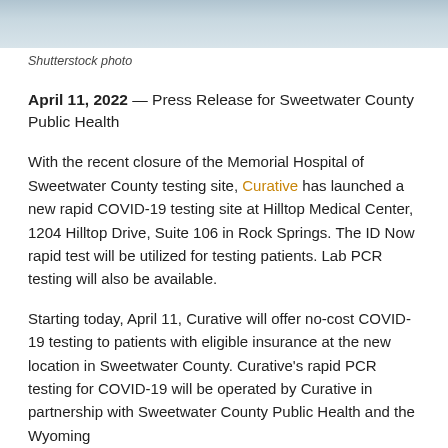[Figure (photo): Partial photo of a person, cropped at top, blue/grey tones]
Shutterstock photo
April 11, 2022 — Press Release for Sweetwater County Public Health
With the recent closure of the Memorial Hospital of Sweetwater County testing site, Curative has launched a new rapid COVID-19 testing site at Hilltop Medical Center, 1204 Hilltop Drive, Suite 106 in Rock Springs. The ID Now rapid test will be utilized for testing patients. Lab PCR testing will also be available.
Starting today, April 11, Curative will offer no-cost COVID-19 testing to patients with eligible insurance at the new location in Sweetwater County. Curative's rapid PCR testing for COVID-19 will be operated by Curative in partnership with Sweetwater County Public Health and the Wyoming